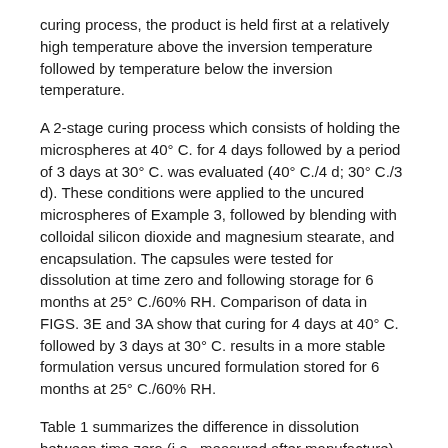curing process, the product is held first at a relatively high temperature above the inversion temperature followed by temperature below the inversion temperature.
A 2-stage curing process which consists of holding the microspheres at 40° C. for 4 days followed by a period of 3 days at 30° C. was evaluated (40° C./4 d; 30° C./3 d). These conditions were applied to the uncured microspheres of Example 3, followed by blending with colloidal silicon dioxide and magnesium stearate, and encapsulation. The capsules were tested for dissolution at time zero and following storage for 6 months at 25° C./60% RH. Comparison of data in FIGS. 3E and 3A show that curing for 4 days at 40° C. followed by 3 days at 30° C. results in a more stable formulation versus uncured formulation stored for 6 months at 25° C./60% RH.
Table 1 summarizes the difference in dissolution between time zero (i.e., measured after manufacture) and after 6 months of storage at 25° C. and 65% RH for Example 3 compositions. As shown in the table, the difference is reduced for all curing conditions relative to the microsphere formulation that was not subjected to curing